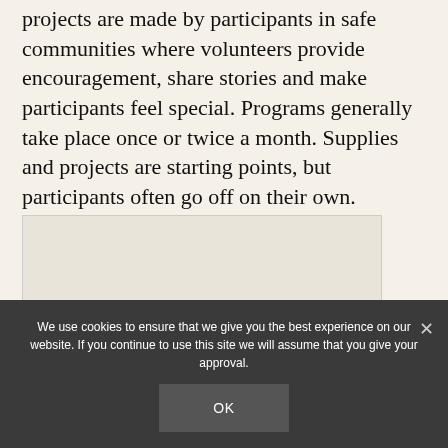projects are made by participants in safe communities where volunteers provide encouragement, share stories and make participants feel special. Programs generally take place once or twice a month. Supplies and projects are starting points, but participants often go off on their own.
[Figure (photo): Placeholder image area, light beige/gray rectangle]
Most of the art-making
We use cookies to ensure that we give you the best experience on our website. If you continue to use this site we will assume that you give your approval. OK ✕